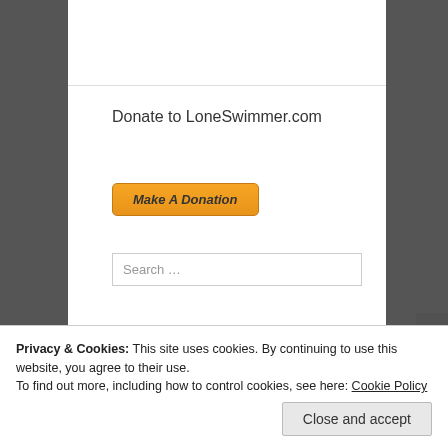Donate to LoneSwimmer.com
[Figure (other): Make A Donation button (orange PayPal-style button with italic bold text)]
Search …
Top Posts
How To understand and choose between the different types of swimming googles
Privacy & Cookies: This site uses cookies. By continuing to use this website, you agree to their use.
To find out more, including how to control cookies, see here: Cookie Policy
Close and accept